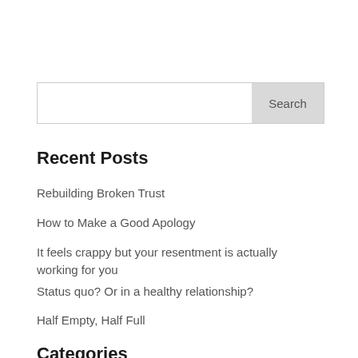[Figure (other): Search input box with Search button on the right]
Recent Posts
Rebuilding Broken Trust
How to Make a Good Apology
It feels crappy but your resentment is actually working for you
Status quo? Or in a healthy relationship?
Half Empty, Half Full
Categories
blog